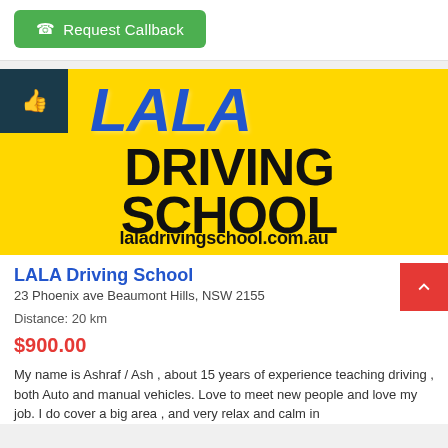[Figure (screenshot): Green 'Request Callback' button with phone icon]
[Figure (photo): LALA Driving School banner on yellow background showing 'LALA DRIVING SCHOOL' text in blue and black, with website laladrivingschool.com.au]
LALA Driving School
23 Phoenix ave Beaumont Hills, NSW 2155
Distance: 20 km
$900.00
My name is Ashraf / Ash , about 15 years of experience teaching driving , both Auto and manual vehicles. Love to meet new people and love my job. I do cover a big area , and very relax and calm in